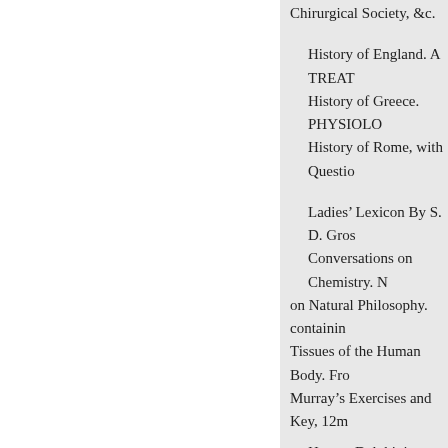Chirurgical Society, &c.
History of England. A TREAT
History of Greece. PHYSIOLO
History of Rome, with Questio
Ladies’ Lexicon By S. D. Gros
Conversations on Chemistry. N
on Natural Philosophy. containin
Tissues of the Human Body. Fro
Murray’s Exercises and Key, 12m
Horace Delphini.
MANUAL OF THE ELEM
OPERATIVE SURGERY: a to afford a concise and accu the present state of the Scie the French of A. Tavernier,